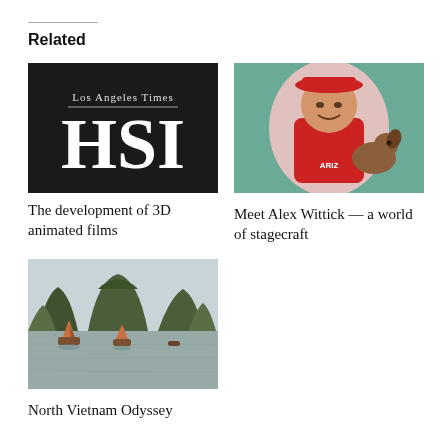Related
[Figure (logo): Los Angeles Times HSI logo on dark background]
The development of 3D animated films
[Figure (photo): Young man in red Arizona shirt and red bucket hat holding a dog, green background]
Meet Alex Wittick — a world of stagecraft
[Figure (photo): Ha Long Bay style landscape with karst mountains, calm water, and traditional boats (North Vietnam)]
North Vietnam Odyssey